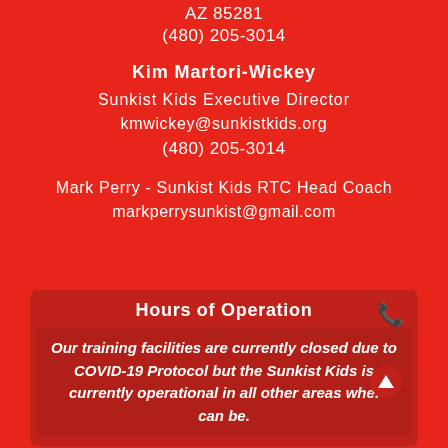AZ 85281
(480) 205-3014
Kim Martori-Wickey
Sunkist Kids Executive Director
kmwickey@sunkistkids.org
(480) 205-3014
Mark Perry - Sunkist Kids RTC Head Coach
markperrysunkist@gmail.com
Hours of Operation
Our training facilities are currently closed due to COVID-19 Protocol but the Sunkist Kids is currently operational in all other areas where we can be.